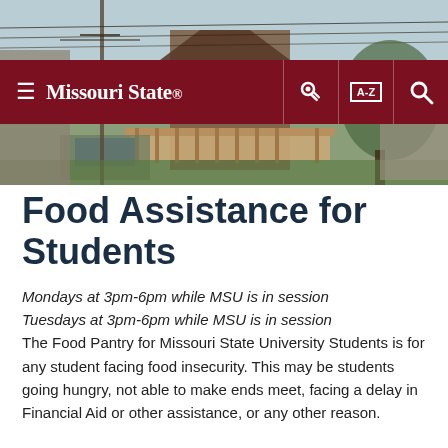[Figure (photo): Exterior photo of a building with a wooden deck/ramp, cars parked nearby, power lines visible, and trees in the background — likely the Food Pantry location near Missouri State University.]
≡ Missouri State.  [key icon]  [A-Z]  [search icon]
Food Assistance for Students
Mondays at 3pm-6pm while MSU is in session
Tuesdays at 3pm-6pm while MSU is in session
The Food Pantry for Missouri State University Students is for any student facing food insecurity. This may be students going hungry, not able to make ends meet, facing a delay in Financial Aid or other assistance, or any other reason.